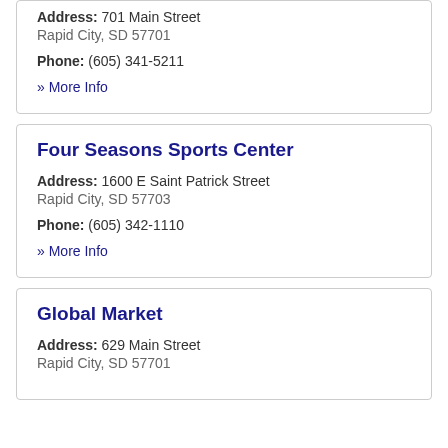Address: 701 Main Street Rapid City, SD 57701
Phone: (605) 341-5211
» More Info
Four Seasons Sports Center
Address: 1600 E Saint Patrick Street Rapid City, SD 57703
Phone: (605) 342-1110
» More Info
Global Market
Address: 629 Main Street Rapid City, SD 57701